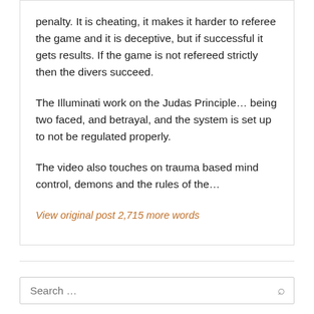penalty. It is cheating, it makes it harder to referee the game and it is deceptive, but if successful it gets results. If the game is not refereed strictly then the divers succeed.
The Illuminati work on the Judas Principle... being two faced, and betrayal, and the system is set up to not be regulated properly.
The video also touches on trauma based mind control, demons and the rules of the...
View original post 2,715 more words
RECENT POSTS